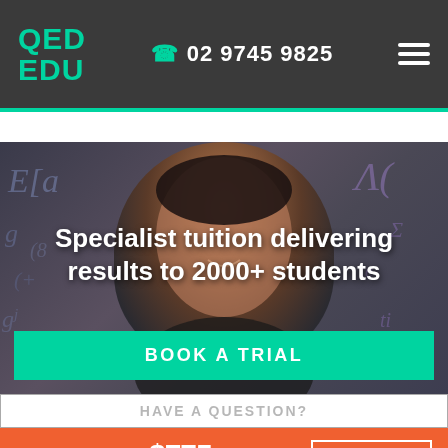QED EDU | 02 9745 9825
[Figure (photo): A smiling student in front of a chalkboard covered in mathematical equations. Text overlay reads: Specialist tuition delivering results to 2000+ students]
BOOK A TRIAL
HAVE A QUESTION?
PRIMARY $775 Per Term BOOK A TRIAL